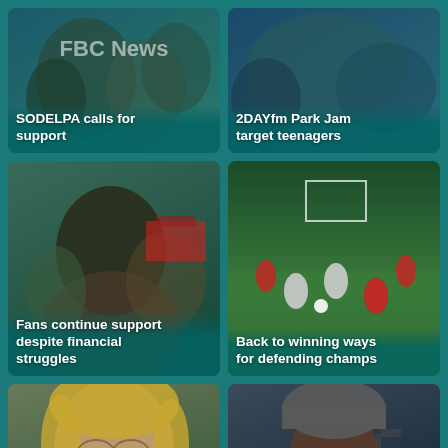[Figure (photo): News app grid layout - Card 1: crowd/people photo with FBC News watermark]
SODELPA calls for support
[Figure (photo): News app grid layout - Card 2: outdoor crowd/event photo]
2DAYfm Park Jam target teenagers
[Figure (photo): News app grid layout - Card 3: woman at outdoor event]
Fans continue support despite financial struggles
[Figure (photo): News app grid layout - Card 4: soccer/football match]
Back to winning ways for defending champs
[Figure (photo): News app grid layout - Card 5: blonde woman close-up]
Keeping Up Appearances actress dies at 91
[Figure (photo): News app grid layout - Card 6: man with grey beanie hat]
Ex-Briton 'Isis Beatle' sentenced to life in prison